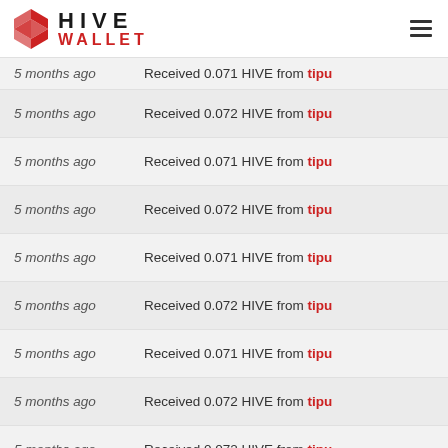HIVE WALLET
5 months ago   Received 0.071 HIVE from tipu
5 months ago   Received 0.072 HIVE from tipu
5 months ago   Received 0.071 HIVE from tipu
5 months ago   Received 0.072 HIVE from tipu
5 months ago   Received 0.071 HIVE from tipu
5 months ago   Received 0.072 HIVE from tipu
5 months ago   Received 0.071 HIVE from tipu
5 months ago   Received 0.072 HIVE from tipu
5 months ago   Received 0.072 HIVE from tipu
5 months ago   Received 0.071 HIVE from tipu